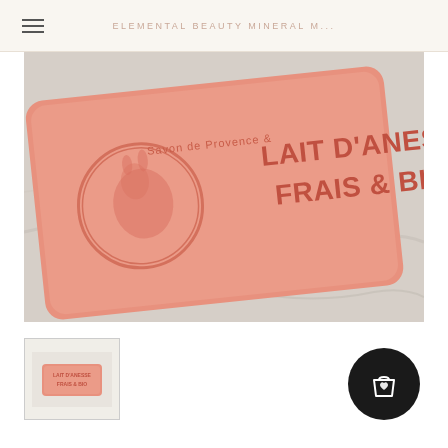ELEMENTAL BEAUTY MINERAL M...
[Figure (photo): Close-up photo of a pink Savon de Provence soap bar embossed with text LAIT D'ANESSE FRAIS & BIO and a donkey logo, placed on a marble surface]
[Figure (photo): Small thumbnail of the same pink soap bar product]
[Figure (illustration): Dark circular shopping cart / bag button with a heart icon overlay]